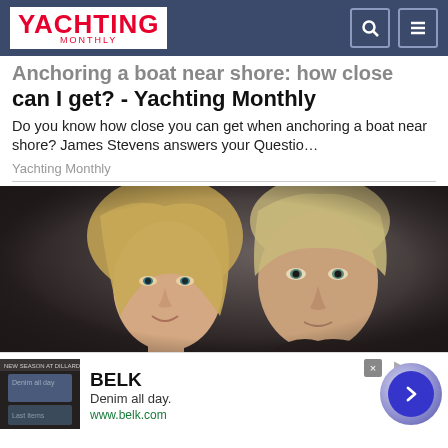Yachting Monthly
Anchoring a boat near shore: how close can I get? - Yachting Monthly
Do you know how close you can get when anchoring a boat near shore? James Stevens answers your Questio…
Yachting Monthly
[Figure (photo): Two people, a woman with blonde hair and a man, photographed together in a close portrait shot against a dark background.]
[Figure (photo): BELK advertisement banner. Shows a clothing store ad with denim products, brand name BELK, tagline 'Denim all day.', and URL www.belk.com. Includes a next arrow button on the right.]